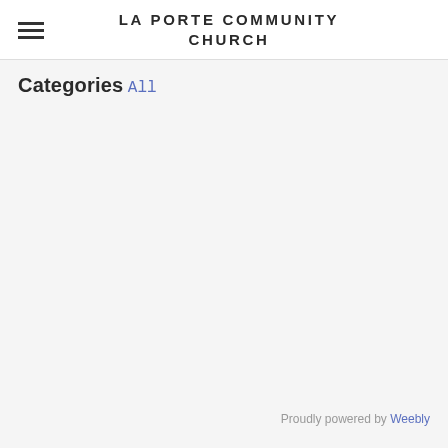LA PORTE COMMUNITY CHURCH
Categories
All
Proudly powered by Weebly